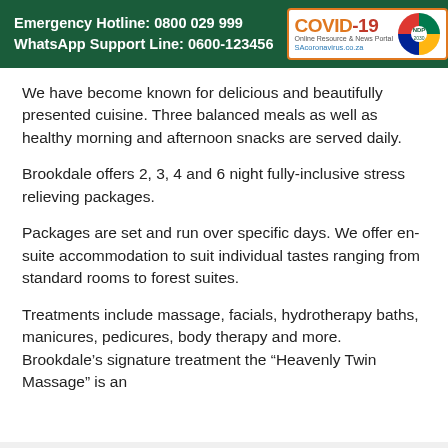Emergency Hotline: 0800 029 999
WhatsApp Support Line: 0600-123456
We have become known for delicious and beautifully presented cuisine. Three balanced meals as well as healthy morning and afternoon snacks are served daily.
Brookdale offers 2, 3, 4 and 6 night fully-inclusive stress relieving packages.
Packages are set and run over specific days. We offer en-suite accommodation to suit individual tastes ranging from standard rooms to forest suites.
Treatments include massage, facials, hydrotherapy baths, manicures, pedicures, body therapy and more. Brookdale’s signature treatment the “Heavenly Twin Massage” is an